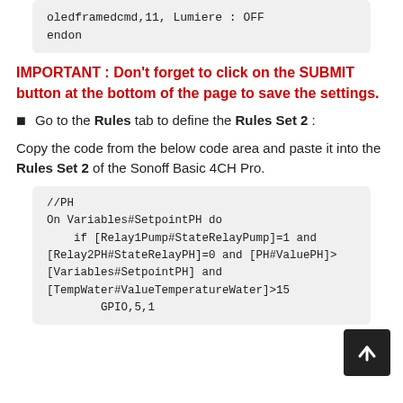oledframedcmd,11, Lumiere : OFF
endon
IMPORTANT : Don't forget to click on the SUBMIT button at the bottom of the page to save the settings.
Go to the Rules tab to define the Rules Set 2 :
Copy the code from the below code area and paste it into the Rules Set 2 of the Sonoff Basic 4CH Pro.
//PH
On Variables#SetpointPH do
    if [Relay1Pump#StateRelayPump]=1 and
[Relay2PH#StateRelayPH]=0 and [PH#ValuePH]>
[Variables#SetpointPH] and
[TempWater#ValueTemperatureWater]>15
        GPIO,5,1